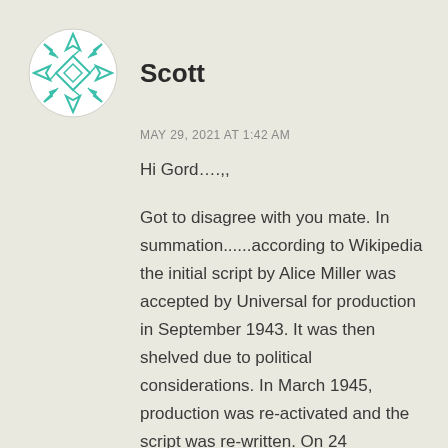[Figure (logo): A circular avatar icon with a geometric star/diamond pattern in teal/green lines on a white background]
Scott
MAY 29, 2021 AT 1:42 AM
Hi Gord….,,
Got to disagree with you mate. In summation......according to Wikipedia the initial script by Alice Miller was accepted by Universal for production in September 1943. It was then shelved due to political considerations. In March 1945, production was re-activated and the script was re-written. On 24 September 1945, filming started...